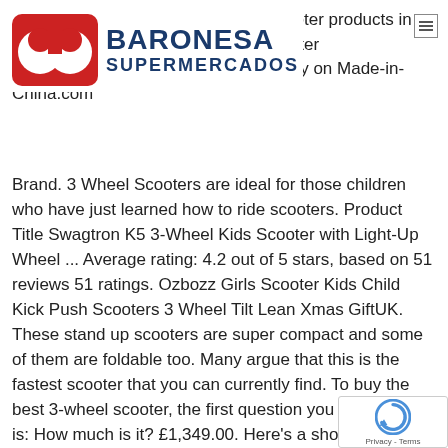[Figure (logo): Baronesa Supermercados logo with red circular icon on left and blue text BARONESA SUPERMERCADOS on right]
Select 2021 high quality 3-Wheel Scooter products in best price from certified Chinese Scooter manufacturers, wholesalers and factory on Made-in-China.com Brand. 3 Wheel Scooters are ideal for those children who have just learned how to ride scooters. Product Title Swagtron K5 3-Wheel Kids Scooter with Light-Up Wheel ... Average rating: 4.2 out of 5 stars, based on 51 reviews 51 ratings. Ozbozz Girls Scooter Kids Child Kick Push Scooters 3 Wheel Tilt Lean Xmas GiftUK. These stand up scooters are super compact and some of them are foldable too. Many argue that this is the fastest scooter that you can currently find. To buy the best 3-wheel scooter, the first question you should ask is: How much is it? £1,349.00. Here's a short summary of the most important things to look for to find the best 3 wheel scooter for your toddler or pre-schooler. 3 wheel scooters for adults have